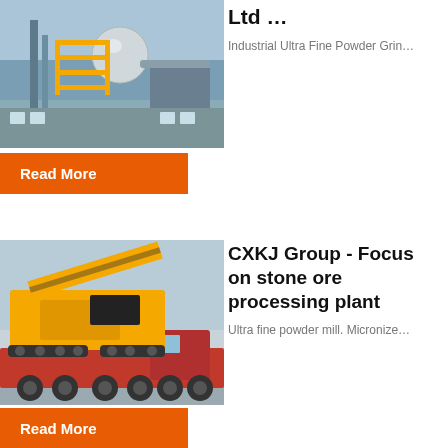Ltd …
Industrial Ultra Fine Powder Grin…
[Figure (photo): Industrial processing plant with large spherical tanks and yellow scaffolding structure]
Read More
CXKJ Group - Focus on stone ore processing plant
Ultra fine powder mill. Micronize…
[Figure (photo): Yellow mobile stone crusher/processing machine loaded on a red heavy transport truck]
Read More